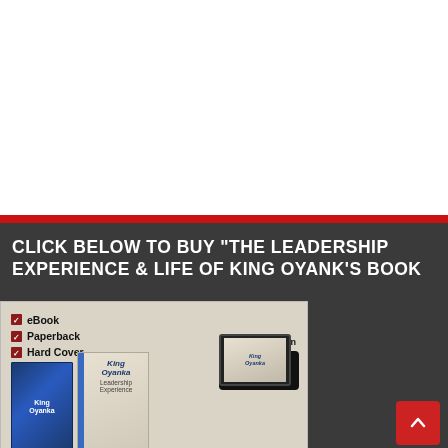[Figure (illustration): White blank top section of a webpage]
CLICK BELOW TO BUY “THE LEADERSHIP EXPERIENCE & LIFE OF KING OYANK’S BOOK
[Figure (photo): Book advertisement banner showing book covers (hard cover, paperback, eBook) for King Oyank's book with checklist of formats (eBook, Paperback, Hard Cover), Now Available on Amazon button, and tablet preview. Red scroll-to-top button on the right.]